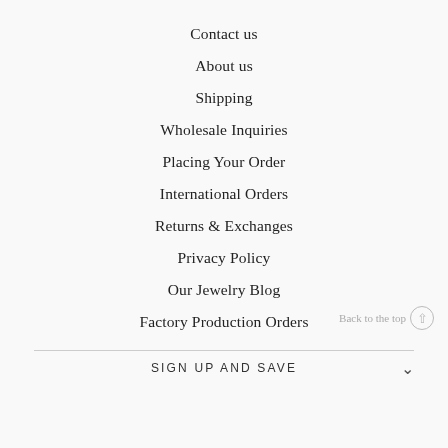Contact us
About us
Shipping
Wholesale Inquiries
Placing Your Order
International Orders
Returns & Exchanges
Privacy Policy
Our Jewelry Blog
Factory Production Orders
Back to the top
SIGN UP AND SAVE